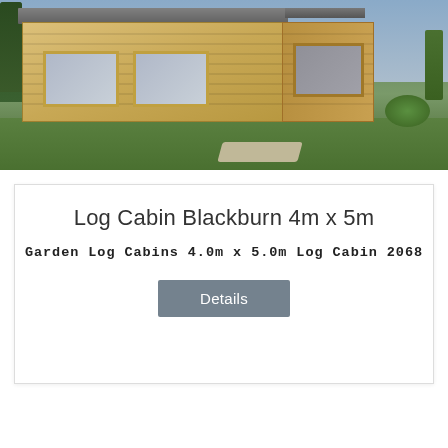[Figure (photo): Exterior photo of a log cabin (Blackburn model) set on a green lawn with trees in background. The cabin has horizontal timber cladding, a flat/shallow roof, large windows, and is surrounded by grass and shrubs.]
Log Cabin Blackburn 4m x 5m
Garden Log Cabins 4.0m x 5.0m Log Cabin 2068
Details